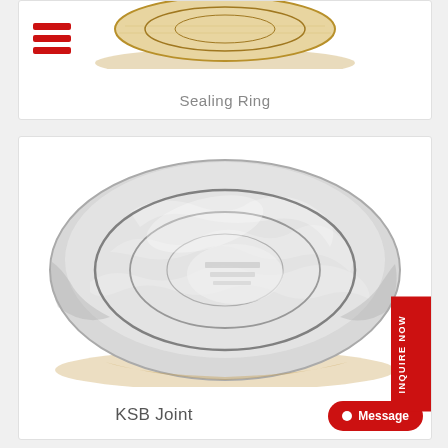[Figure (photo): Top portion of a sealing ring product (circular ring partially visible at top of card)]
Sealing Ring
[Figure (photo): A large circular KSB Joint sealing ring wrapped in plastic film, viewed from above, showing the oval disc shape with concentric ring grooves, placed on a wooden surface.]
KSB Joint